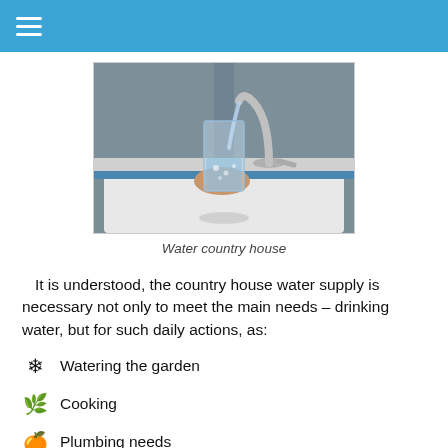[Figure (photo): A hand holding a glass being filled with water from a chrome faucet over a white sink]
Water country house
It is understood, the country house water supply is necessary not only to meet the main needs – drinking water, but for such daily actions, as:
Watering the garden
Cooking
Plumbing needs